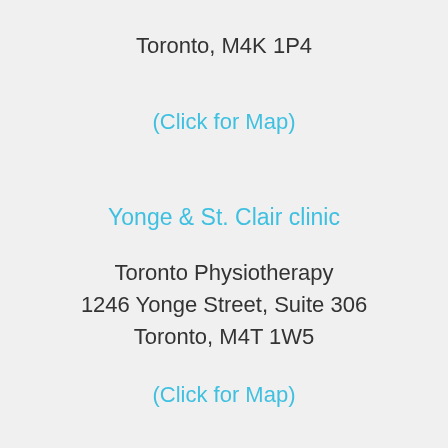Toronto, M4K 1P4
(Click for Map)
Yonge & St. Clair clinic
Toronto Physiotherapy
1246 Yonge Street, Suite 306
Toronto, M4T 1W5
(Click for Map)